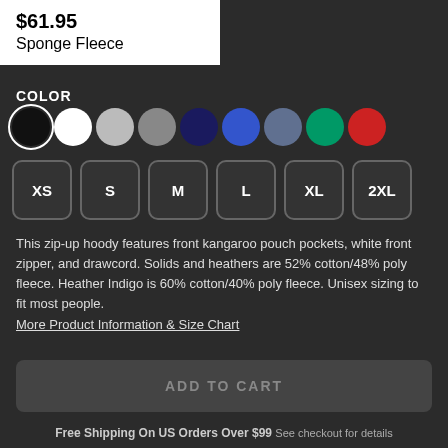$61.95
Sponge Fleece
COLOR
[Figure (other): Color swatches: black (selected), white, light gray, gray, navy, blue, slate gray, green, red]
[Figure (other): Size selector buttons: XS, S, M, L, XL, 2XL]
This zip-up hoody features front kangaroo pouch pockets, white front zipper, and drawcord. Solids and heathers are 52% cotton/48% poly fleece. Heather Indigo is 60% cotton/40% poly fleece. Unisex sizing to fit most people.
More Product Information & Size Chart
ADD TO CART
Free Shipping On US Orders Over $99 See checkout for details